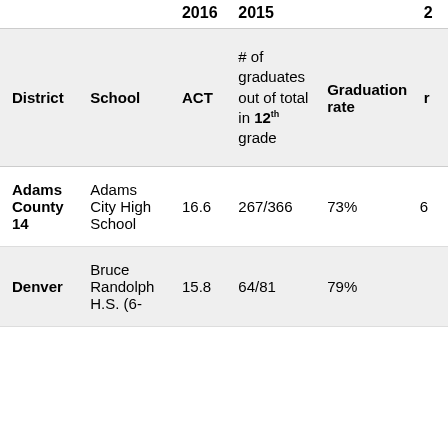| District | School | ACT | # of graduates out of total in 12th grade | Graduation rate |  |
| --- | --- | --- | --- | --- | --- |
| Adams County 14 | Adams City High School | 16.6 | 267/366 | 73% | 6 |
| Denver | Bruce Randolph H.S. (6- | 15.8 | 64/81 | 79% |  |